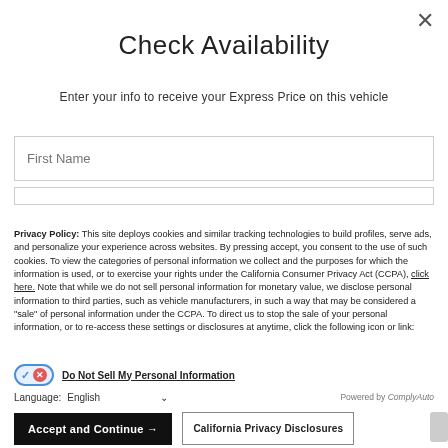Check Availability
Enter your info to receive your Express Price on this vehicle
First Name
Privacy Policy: This site deploys cookies and similar tracking technologies to build profiles, serve ads, and personalize your experience across websites. By pressing accept, you consent to the use of such cookies. To view the categories of personal information we collect and the purposes for which the information is used, or to exercise your rights under the California Consumer Privacy Act (CCPA), click here. Note that while we do not sell personal information for monetary value, we disclose personal information to third parties, such as vehicle manufacturers, in such a way that may be considered a "sale" of personal information under the CCPA. To direct us to stop the sale of your personal information, or to re-access these settings or disclosures at anytime, click the following icon or link:
Do Not Sell My Personal Information
Language: English
Powered by ComplyAuto
Accept and Continue →
California Privacy Disclosures